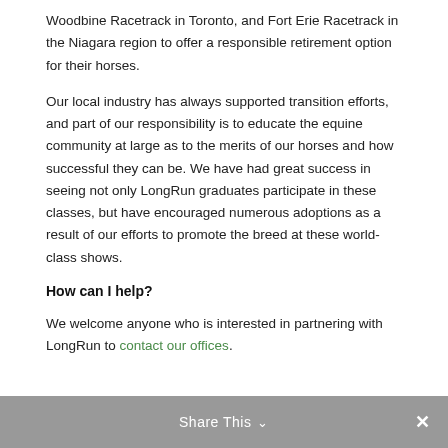Woodbine Racetrack in Toronto, and Fort Erie Racetrack in the Niagara region to offer a responsible retirement option for their horses.
Our local industry has always supported transition efforts, and part of our responsibility is to educate the equine community at large as to the merits of our horses and how successful they can be. We have had great success in seeing not only LongRun graduates participate in these classes, but have encouraged numerous adoptions as a result of our efforts to promote the breed at these world-class shows.
How can I help?
We welcome anyone who is interested in partnering with LongRun to contact our offices.
Share This ∨  ✕